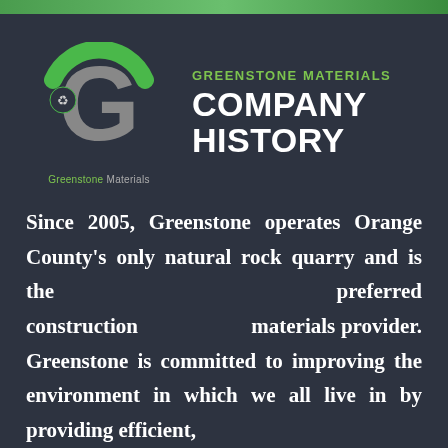[Figure (logo): Greenstone Materials logo: a large grey G letter with a green arc on top and a small recycling icon, with 'Greenstone Materials' text below]
GREENSTONE MATERIALS
COMPANY HISTORY
Since 2005, Greenstone operates Orange County's only natural rock quarry and is the preferred construction materials provider. Greenstone is committed to improving the environment in which we all live in by providing efficient,